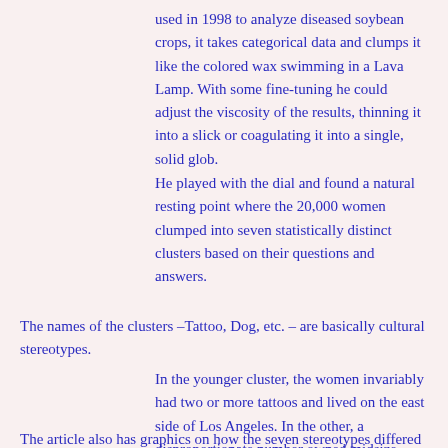used in 1998 to analyze diseased soybean crops, it takes categorical data and clumps it like the colored wax swimming in a Lava Lamp. With some fine-tuning he could adjust the viscosity of the results, thinning it into a slick or coagulating it into a single, solid glob.
He played with the dial and found a natural resting point where the 20,000 women clumped into seven statistically distinct clusters based on their questions and answers.
The names of the clusters –Tattoo, Dog, etc. – are basically cultural stereotypes.
In the younger cluster, the women invariably had two or more tattoos and lived on the east side of Los Angeles. In the other, a disproportionate number owned midsize dogs that they adored.
The article also has graphics on how the seven stereotypes differed from one another in four areas. (The “Green” tag is not political; Green was presumably just OK. Covid: Therapy: the